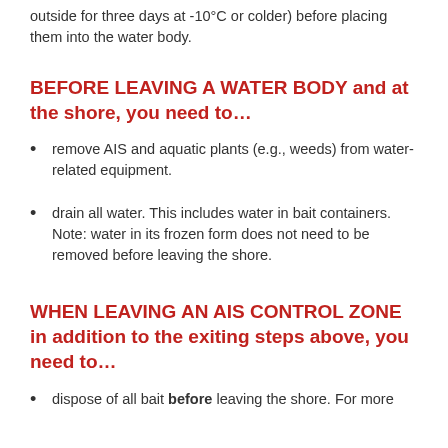outside for three days at -10°C or colder) before placing them into the water body.
BEFORE LEAVING A WATER BODY and at the shore, you need to…
remove AIS and aquatic plants (e.g., weeds) from water-related equipment.
drain all water. This includes water in bait containers. Note: water in its frozen form does not need to be removed before leaving the shore.
WHEN LEAVING AN AIS CONTROL ZONE in addition to the exiting steps above, you need to…
dispose of all bait before leaving the shore. For more